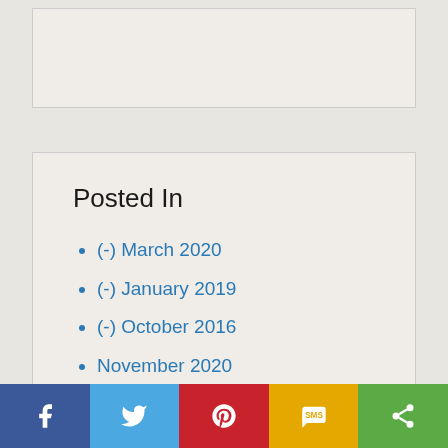Posted In
(-) March 2020
(-) January 2019
(-) October 2016
November 2020
October 2020
Show more